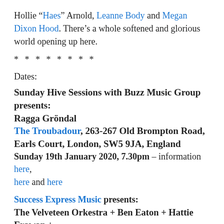Hollie “Haes” Arnold, Leanne Body and Megan Dixon Hood. There’s a whole softened and glorious world opening up here.
* * * * * * * *
Dates:
Sunday Hive Sessions with Buzz Music Group presents:
Ragga Gröndal
The Troubadour, 263-267 Old Brompton Road, Earls Court, London, SW5 9JA, England
Sunday 19th January 2020, 7.30pm – information here, here and here
Success Express Music presents:
The Velveteen Orkestra + Ben Eaton + Hattie Erawan +